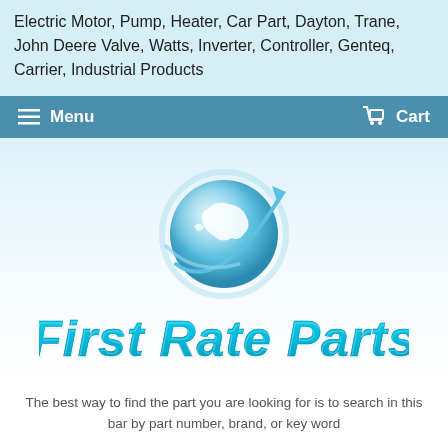Electric Motor, Pump, Heater, Car Part, Dayton, Trane, John Deere Valve, Watts, Inverter, Controller, Genteq, Carrier, Industrial Products
≡ Menu   🛒 Cart
[Figure (logo): First Rate Parts logo: a globe with an arrow swooping around it, above stylized cyan text reading 'First Rate Parts']
The best way to find the part you are looking for is to search in this bar by part number, brand, or key word